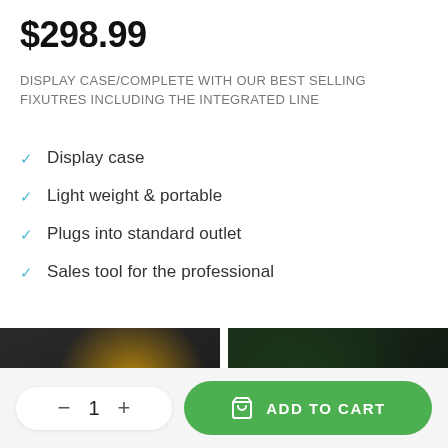$298.99
DISPLAY CASE/COMPLETE WITH OUR BEST SELLING FIXUTRES INCLUDING THE INTEGRATED LINE
Display case
Light weight & portable
Plugs into standard outlet
Sales tool for the professional
[Figure (photo): Video thumbnail showing a hand holding a dark display case with an orange/yellow item visible, with a play button overlay]
[Figure (photo): Video thumbnail showing a glowing white/warm light fixture against dark green foliage background, with a play button overlay]